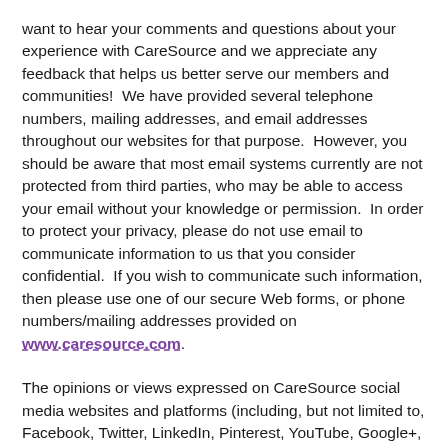want to hear your comments and questions about your experience with CareSource and we appreciate any feedback that helps us better serve our members and communities!  We have provided several telephone numbers, mailing addresses, and email addresses throughout our websites for that purpose.  However, you should be aware that most email systems currently are not protected from third parties, who may be able to access your email without your knowledge or permission.  In order to protect your privacy, please do not use email to communicate information to us that you consider confidential.  If you wish to communicate such information, then please use one of our secure Web forms, or phone numbers/mailing addresses provided on www.caresource.com.
The opinions or views expressed on CareSource social media websites and platforms (including, but not limited to, Facebook, Twitter, LinkedIn, Pinterest, YouTube, Google+,